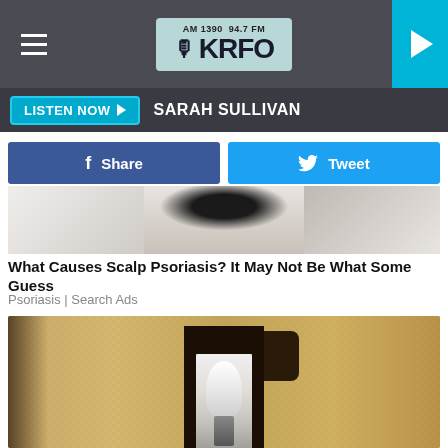[Figure (screenshot): KRFO radio station header with hamburger menu, logo (AM 1390 94.7 FM KRFO), and play button]
LISTEN NOW ▶  SARAH SULLIVAN
[Figure (screenshot): Facebook Share button and Twitter Tweet button social sharing row]
[Figure (photo): Cropped photo of a woman's back/shoulders with dark hair, advertisement image]
What Causes Scalp Psoriasis? It May Not Be What Some Guess
Psoriasis | Search Ads
[Figure (photo): Close-up photo of a black metal outdoor lantern light fixture mounted on a textured stucco wall]